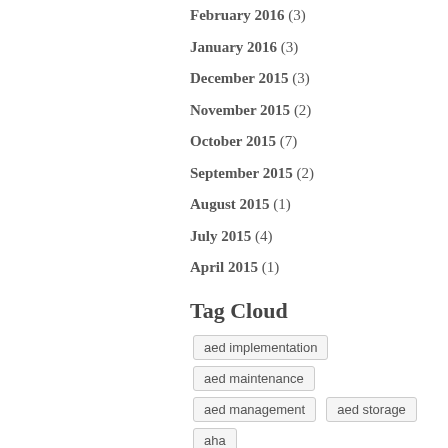February 2016 (3)
January 2016 (3)
December 2015 (3)
November 2015 (2)
October 2015 (7)
September 2015 (2)
August 2015 (1)
July 2015 (4)
April 2015 (1)
Tag Cloud
aed implementation
aed maintenance
aed management
aed storage
aha
aha guidelines
american heart association
batteries